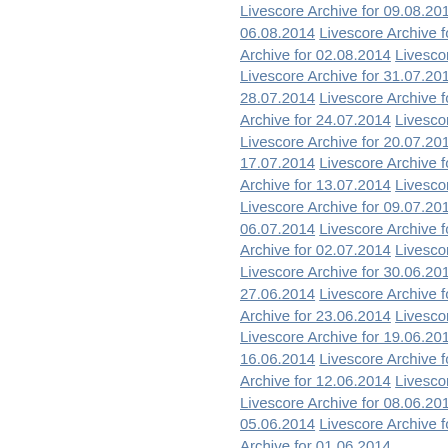Livescore Archive for 09.08.2014  Livescore Archive for 06.08.2014  Livescore Archive for 05.08.2014  Archive for 02.08.2014  Livescore Archive for ...  Livescore Archive for 31.07.2014  Livescore Archive for 28.07.2014  Livescore Archive for 27.07.2014  Archive for 24.07.2014  Livescore Archive for ...  Livescore Archive for 20.07.2014  Livescore Archive for 17.07.2014  Livescore Archive for 16.07.2014  Archive for 13.07.2014  Livescore Archive for ...  Livescore Archive for 09.07.2014  Livescore Archive for 06.07.2014  Livescore Archive for 05.07.2014  Archive for 02.07.2014  Livescore Archive for ...  Livescore Archive for 30.06.2014  Livescore Archive for 27.06.2014  Livescore Archive for 26.06.2014  Archive for 23.06.2014  Livescore Archive for ...  Livescore Archive for 19.06.2014  Livescore Archive for 16.06.2014  Livescore Archive for 15.06.2014  Archive for 12.06.2014  Livescore Archive for ...  Livescore Archive for 08.06.2014  Livescore Archive for 05.06.2014  Livescore Archive for 04.06.2014  Archive for 01.06.2014  Livescore Archive for 31.05.2014  Livescore Archive for 28.05.2014  Livescore Archive for 27.05.2014  Archive for 24.05.2014  Livescore Archive for ...  Livescore Archive for 20.05.2014  Livescore Archive for ...